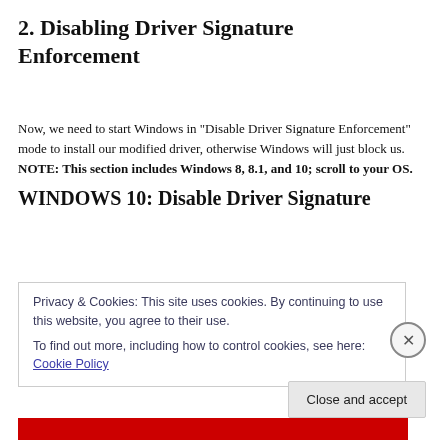2. Disabling Driver Signature Enforcement
Now, we need to start Windows in “Disable Driver Signature Enforcement” mode to install our modified driver, otherwise Windows will just block us.
NOTE: This section includes Windows 8, 8.1, and 10; scroll to your OS.
WINDOWS 10: Disable Driver Signature
Privacy & Cookies: This site uses cookies. By continuing to use this website, you agree to their use.
To find out more, including how to control cookies, see here: Cookie Policy
Close and accept